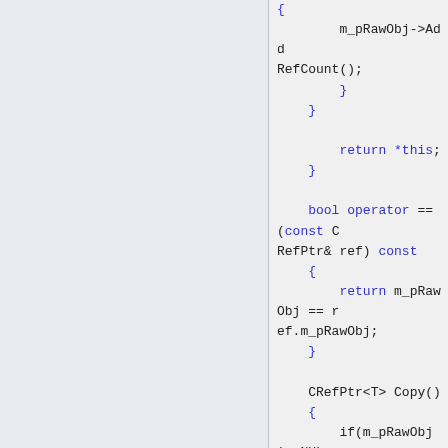[Figure (screenshot): Source code snippet showing C++ CRefPtr class methods including operator= and operator== and Copy(), with blue keywords on a light grey background. Left half of page is empty light blue-grey panel.]